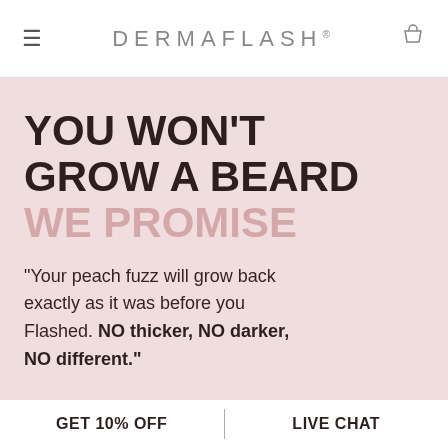DERMAFLASH
YOU WON'T GROW A BEARD
WE PROMISE
"Your peach fuzz will grow back exactly as it was before you Flashed. NO thicker, NO darker, NO different."
GET 10% OFF | LIVE CHAT